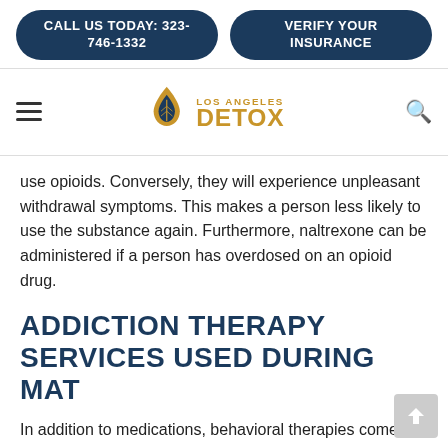CALL US TODAY: 323-746-1332 | VERIFY YOUR INSURANCE
[Figure (logo): Los Angeles Detox logo with golden leaf/droplet icon and gold text]
use opioids. Conversely, they will experience unpleasant withdrawal symptoms. This makes a person less likely to use the substance again. Furthermore, naltrexone can be administered if a person has overdosed on an opioid drug.
ADDICTION THERAPY SERVICES USED DURING MAT
In addition to medications, behavioral therapies come in play. The main types of therapy commonly used during